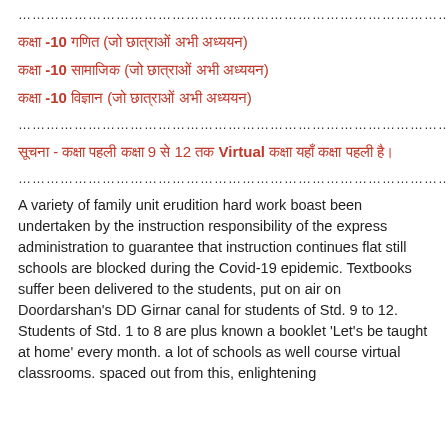………………………………………………………………………………………………………………………………
कक्षा -10 गणित (जो छात्राओं अभी अध्ययन)
कक्षा -10 सामाजिक (जो छात्राओं अभी अध्ययन)
कक्षा -10 विज्ञान (जो छात्राओं अभी अध्ययन)
………………………………………………………………………………………………………………………………
सूचना - कक्षा पहली कक्षा 9 से 12 तक Virtual कक्षा यहाँ कक्षा पहली है।
………………………………………………………………………………………………………………………………
A variety of family unit erudition hard work boast been undertaken by the instruction responsibility of the express administration to guarantee that instruction continues flat still schools are blocked during the Covid-19 epidemic. Textbooks suffer been delivered to the students, put on air on Doordarshan's DD Girnar canal for students of Std. 9 to 12. Students of Std. 1 to 8 are plus known a booklet 'Let's be taught at home' every month. a lot of schools as well course virtual classrooms. spaced out from this, enlightening